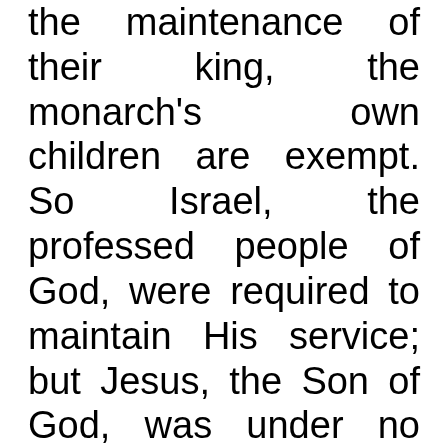the maintenance of their king, the monarch's own children are exempt. So Israel, the professed people of God, were required to maintain His service; but Jesus, the Son of God, was under no such obligation. If priests and Levites were exempt because of their connection with the temple, how much more He to whom the temple was His Father's house.